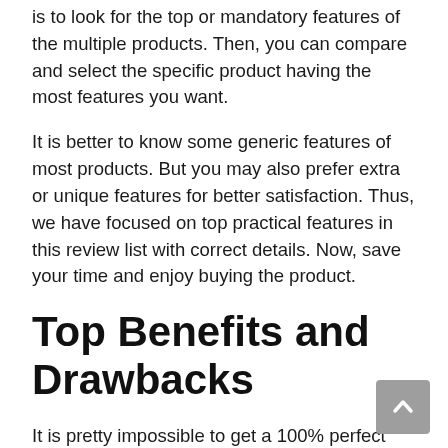is to look for the top or mandatory features of the multiple products. Then, you can compare and select the specific product having the most features you want.
It is better to know some generic features of most products. But you may also prefer extra or unique features for better satisfaction. Thus, we have focused on top practical features in this review list with correct details. Now, save your time and enjoy buying the product.
Top Benefits and Drawbacks
It is pretty impossible to get a 100% perfect product. It means your selected product may